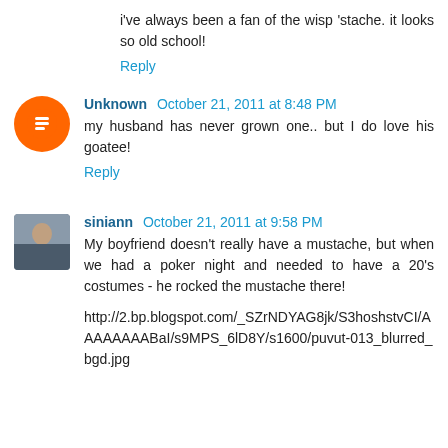i've always been a fan of the wisp 'stache. it looks so old school!
Reply
Unknown  October 21, 2011 at 8:48 PM
my husband has never grown one.. but I do love his goatee!
Reply
siniann  October 21, 2011 at 9:58 PM
My boyfriend doesn't really have a mustache, but when we had a poker night and needed to have a 20's costumes - he rocked the mustache there!
http://2.bp.blogspot.com/_SZrNDYAG8jk/S3hoshstvCI/AAAAAAAABaI/s9MPS_6lD8Y/s1600/puvut-013_blurred_bgd.jpg